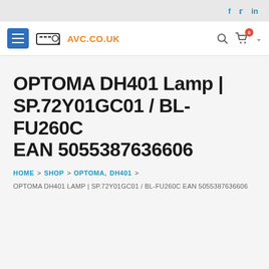f  t  in
[Figure (logo): AVC.CO.UK logo with projector icon and hamburger menu button]
OPTOMA DH401 Lamp | SP.72Y01GC01 / BL-FU260C EAN 5055387636606
HOME > SHOP > OPTOMA, DH401 >
OPTOMA DH401 LAMP | SP.72Y01GC01 / BL-FU260C EAN 5055387636606